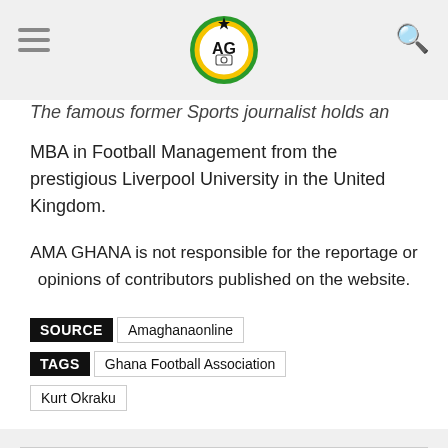[Figure (logo): AMA GHANA circular logo with green, red, yellow and black colors, featuring 'AG' initials with a camera icon in the center]
The famous former Sports journalist holds an MBA in Football Management from the prestigious Liverpool University in the United Kingdom.
AMA GHANA is not responsible for the reportage or opinions of contributors published on the website.
SOURCE  Amaghanaonline
TAGS  Ghana Football Association
Kurt Okraku